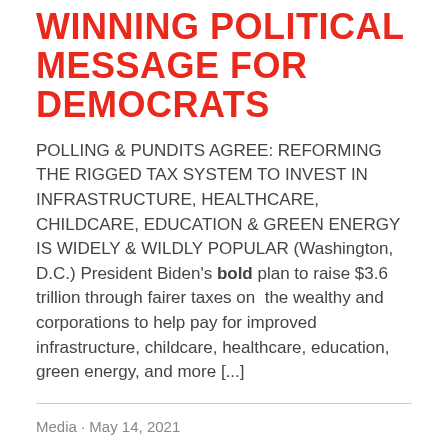WINNING POLITICAL MESSAGE FOR DEMOCRATS
POLLING & PUNDITS AGREE: REFORMING THE RIGGED TAX SYSTEM TO INVEST IN INFRASTRUCTURE, HEALTHCARE, CHILDCARE, EDUCATION & GREEN ENERGY IS WIDELY & WILDLY POPULAR (Washington, D.C.) President Biden’s bold plan to raise $3.6 trillion through fairer taxes on the wealthy and corporations to help pay for improved infrastructure, childcare, healthcare, education, green energy, and more [...]
Media · May 14, 2021
TAX DAY ARRIVES WITH